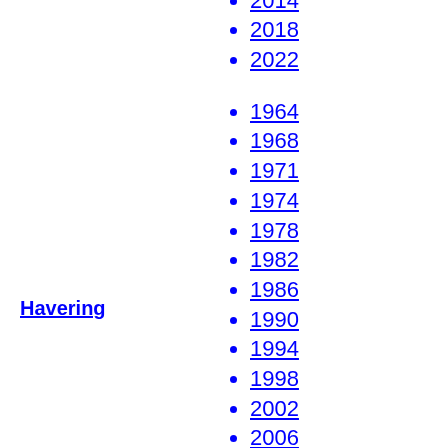2010
2014
2018
2022
1964
1968
1971
1974
1978
1982
1986
1990
1994
1998
2002
2006
2010
2014
2018
2022
Havering
1964
1968
1971